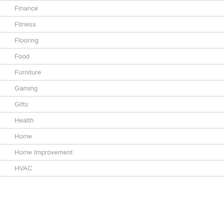Finance
Fitness
Flooring
Food
Furniture
Gaming
Gifts
Health
Home
Home Improvement
HVAC